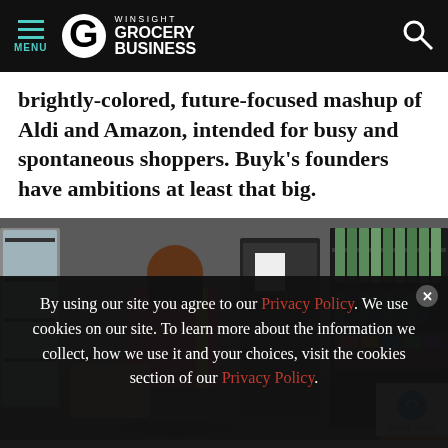MENU | WINSIGHT GROCERY BUSINESS
brightly-colored, future-focused mashup of Aldi and Amazon, intended for busy and spontaneous shoppers. Buyk's founders have ambitions at least that big.
[Figure (photo): A store employee wearing a pink Buyk t-shirt and black face mask standing in a store aisle next to shelves stocked with beverages and food items.]
By using our site you agree to our Privacy Policy. We use cookies on our site. To learn more about the information we collect, how we use it and your choices, visit the cookies section of our Privacy Policy.